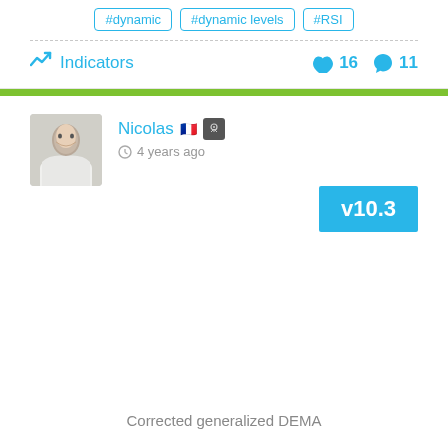#dynamic
#dynamic levels
#RSI
Indicators
16 likes, 11 comments
Nicolas 🇫🇷 🏅
4 years ago
v10.3
Corrected generalized DEMA